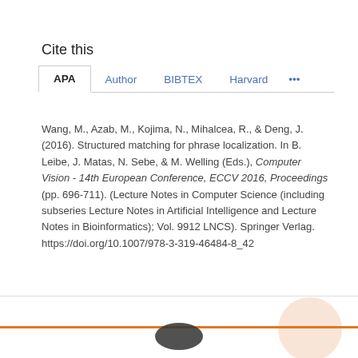Cite this
Wang, M., Azab, M., Kojima, N., Mihalcea, R., & Deng, J. (2016). Structured matching for phrase localization. In B. Leibe, J. Matas, N. Sebe, & M. Welling (Eds.), Computer Vision - 14th European Conference, ECCV 2016, Proceedings (pp. 696-711). (Lecture Notes in Computer Science (including subseries Lecture Notes in Artificial Intelligence and Lecture Notes in Bioinformatics); Vol. 9912 LNCS). Springer Verlag. https://doi.org/10.1007/978-3-319-46484-8_42